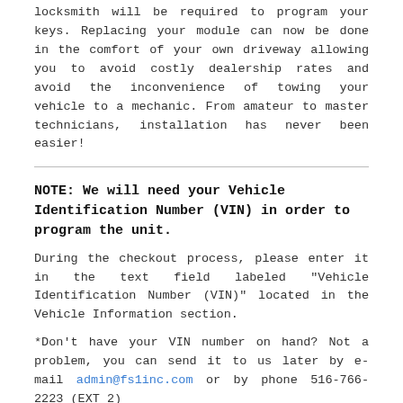locksmith will be required to program your keys. Replacing your module can now be done in the comfort of your own driveway allowing you to avoid costly dealership rates and avoid the inconvenience of towing your vehicle to a mechanic. From amateur to master technicians, installation has never been easier!
NOTE: We will need your Vehicle Identification Number (VIN) in order to program the unit.
During the checkout process, please enter it in the text field labeled "Vehicle Identification Number (VIN)" located in the Vehicle Information section.
*Don't have your VIN number on hand? Not a problem, you can send it to us later by e-mail admin@fs1inc.com or by phone 516-766-2223 (EXT 2)
REFURBISHED AND QUALITY CONTROL TESTING: